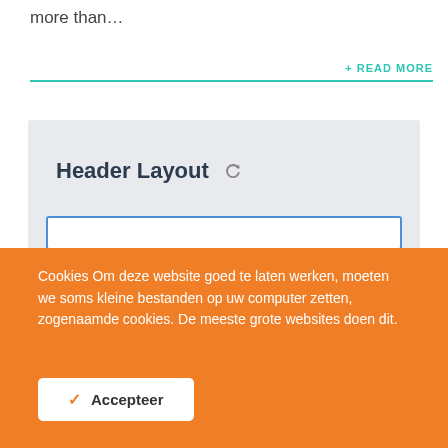more than…
+ READ MORE
[Figure (screenshot): Screenshot of a website header layout settings panel showing 'Header Layout' title with a refresh icon and an input/search bar below]
Cookies Om deze website goed te laten werken, moeten we soms kleine bestanden op uw computer zetten, zogenaamde cookies. De meeste grote websites doen dit.
✓  Accepteer